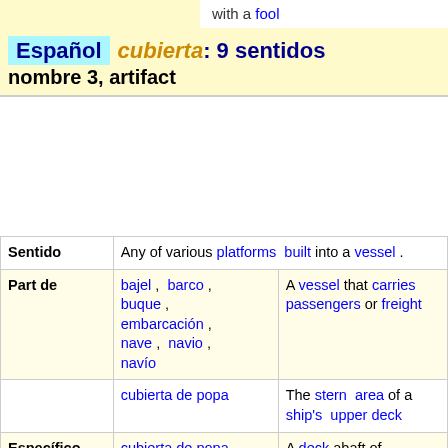with a fool
Español  cubierta: 9 sentidos  nombre 3, artifact
|  |  |  |
| --- | --- | --- |
| Sentido | Any of various platforms built into a vessel . |  |
| Part de | bajel , barco , buque , embarcación , nave , navio , navío | A vessel that carries passengers or freight |
|  | cubierta de popa | The stern area of a ship's upper deck |
|  | cubierta de popa | A deck abaft of midships |
| Específico | cubierta principal | The uppermost sheltered deck that runs the entire length of |